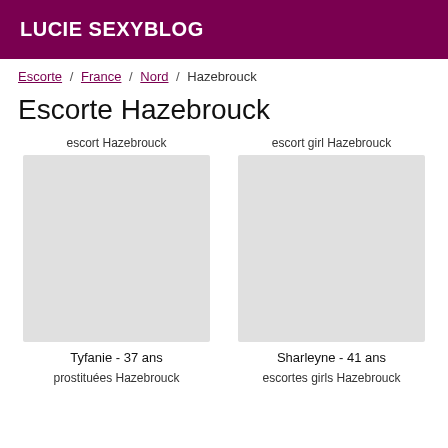LUCIE SEXYBLOG
Escorte / France / Nord / Hazebrouck
Escorte Hazebrouck
escort Hazebrouck
[Figure (photo): Photo placeholder for escort Hazebrouck - Tyfanie]
Tyfanie - 37 ans
prostituées Hazebrouck
escort girl Hazebrouck
[Figure (photo): Photo placeholder for escort girl Hazebrouck - Sharleyne]
Sharleyne - 41 ans
escortes girls Hazebrouck